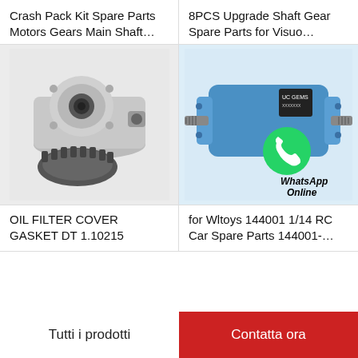Crash Pack Kit Spare Parts Motors Gears Main Shaft…
8PCS Upgrade Shaft Gear Spare Parts for Visuo…
[Figure (photo): Mechanical gear pump / motor assembly with main shaft and gear teeth visible, metallic silver/gray color]
[Figure (photo): Blue hydraulic gear motor with shaft on both ends, labeled with WhatsApp Online text and WhatsApp logo overlay]
OIL FILTER COVER GASKET DT 1.10215
for Wltoys 144001 1/14 RC Car Spare Parts 144001-…
Tutti i prodotti
Contatta ora